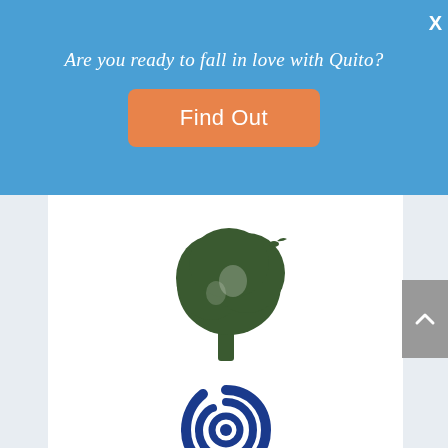Are you ready to fall in love with Quito?
[Figure (infographic): Orange 'Find Out' button on blue banner background]
[Figure (logo): Cuyabeno Kichwa Lodge logo with tree illustration, dark green CUYABENO text, and golden KICHWA LODGE text]
[Figure (logo): Blue spiral/eye logo mark, likely Swisscontact or similar organization]